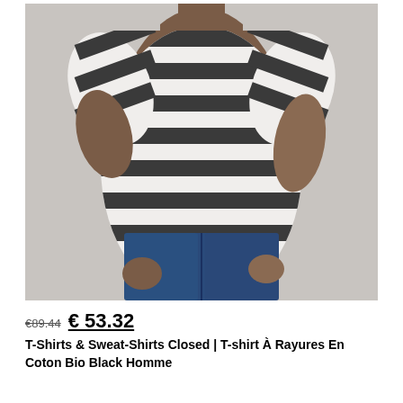[Figure (photo): A man wearing a black and white horizontal striped short-sleeve t-shirt with blue denim shorts. The photo is cropped from chest to thigh, showing the torso and arms. Background is light grey.]
€89.44 € 53.32
T-Shirts & Sweat-Shirts Closed | T-shirt À Rayures En Coton Bio Black Homme